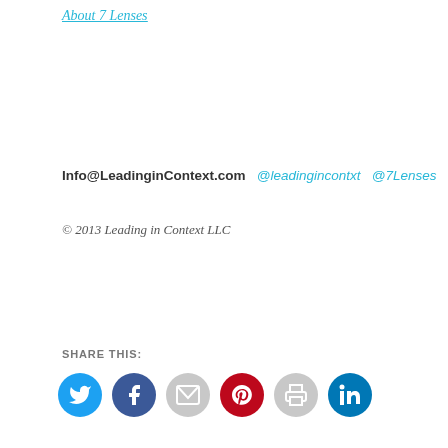About 7 Lenses
Info@LeadinginContext.com  @leadingincontxt  @7Lenses
© 2013 Leading in Context LLC
SHARE THIS:
[Figure (infographic): Social share buttons: Twitter (blue), Facebook (dark blue), Email (gray), Pinterest (red), Print (gray), LinkedIn (teal)]